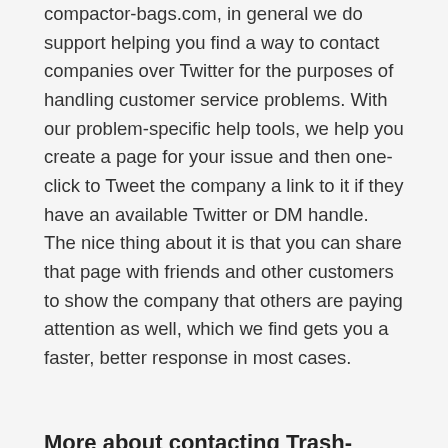compactor-bags.com, in general we do support helping you find a way to contact companies over Twitter for the purposes of handling customer service problems. With our problem-specific help tools, we help you create a page for your issue and then one-click to Tweet the company a link to it if they have an available Twitter or DM handle. The nice thing about it is that you can share that page with friends and other customers to show the company that others are paying attention as well, which we find gets you a faster, better response in most cases.
More about contacting Trash-compactor-bags.com
Of the 2 way(s) to get in touch with Trash-compactor-bags.com, customers like you claim that the best one...